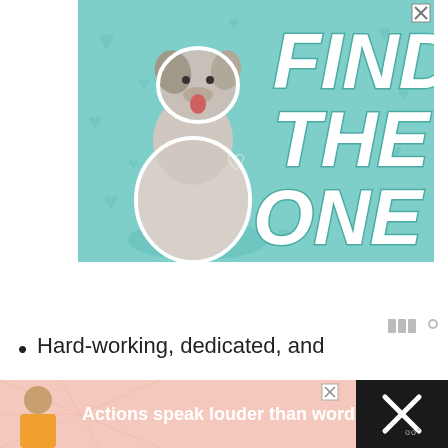[Figure (illustration): Advertisement banner with teal/mint background showing a Great Dane dog on the left and large bold italic white text reading 'FIND THE ONE' on the right, with decorative heart patterns in the background. A close (X) button is in the top right corner.]
Hard-working, dedicated, and
[Figure (illustration): Bottom advertisement banner with pink/salmon background showing a person on the left and bold white text reading 'Actions speak louder than words.' A close X button is visible, and a dark panel with an X icon is on the right.]